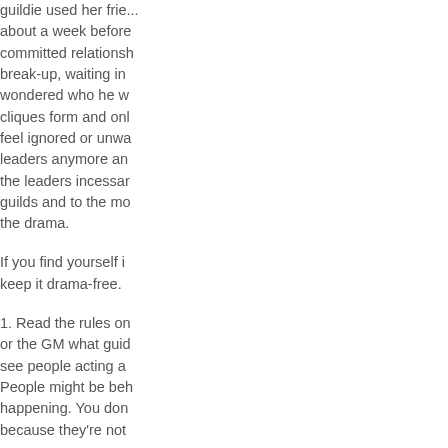guildie used her frie... about a week before... committed relationsh... break-up, waiting in... wondered who he w... cliques form and onl... feel ignored or unwa... leaders anymore an... the leaders incessar... guilds and to the mo... the drama.
If you find yourself i... keep it drama-free.
1. Read the rules on... or the GM what guid... see people acting a... People might be beh... happening. You don... because they're not...
2. Don't take it upo...